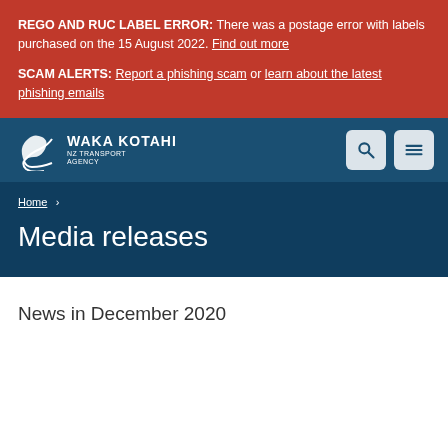REGO AND RUC LABEL ERROR: There was a postage error with labels purchased on the 15 August 2022. Find out more
SCAM ALERTS: Report a phishing scam or learn about the latest phishing emails
[Figure (logo): Waka Kotahi NZ Transport Agency logo with white stylized bird/road mark]
Home >
Media releases
News in December 2020